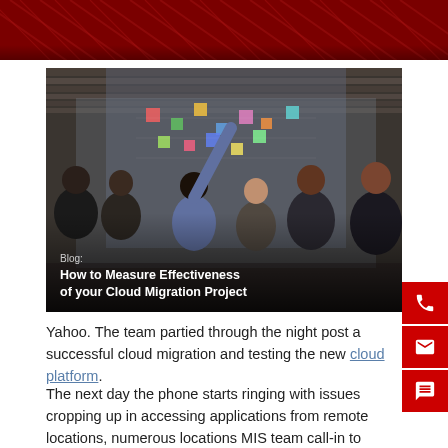[Figure (photo): Group of business professionals in an office looking at a glass wall with sticky notes. A woman points at the wall while colleagues observe.]
Blog: How to Measure Effectiveness of your Cloud Migration Project
Yahoo. The team partied through the night post a successful cloud migration and testing the new cloud platform.
The next day the phone starts ringing with issues cropping up in accessing applications from remote locations, numerous locations MIS team call-in to mention they are not able to generate reports. You call for an emergency meeting with your team...